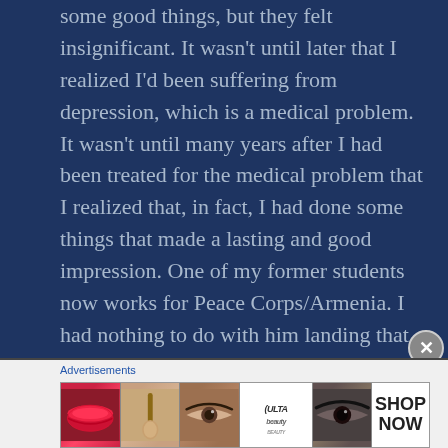some good things, but they felt insignificant. It wasn't until later that I realized I'd been suffering from depression, which is a medical problem. It wasn't until many years after I had been treated for the medical problem that I realized that, in fact, I had done some things that made a lasting and good impression. One of my former students now works for Peace Corps/Armenia. I had nothing to do with him landing that job, but I do realize that at least his experiences with me didn't turn
Advertisements
[Figure (other): Ulta beauty advertisement banner with makeup images showing lips, brush, eyes, Ulta Beauty logo, and a SHOP NOW call to action]